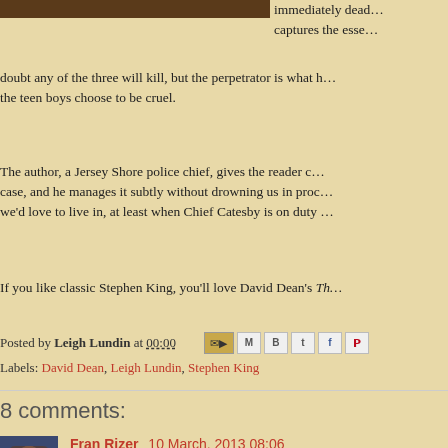[Figure (photo): Partial top image, dark brown tones, cropped at top of page]
immediately dead… captures the esse…
doubt any of the three will kill, but the perpetrator is what h… the teen boys choose to be cruel.
The author, a Jersey Shore police chief, gives the reader c… case, and he manages it subtly without drowning us in proc… we'd love to live in, at least when Chief Catesby is on duty …
If you like classic Stephen King, you'll love David Dean's Th…
Posted by Leigh Lundin at 00:00
Labels: David Dean, Leigh Lundin, Stephen King
8 comments:
Fran Rizer 10 March, 2013 08:06
As someone who frequently writes L-O-N-G comme…